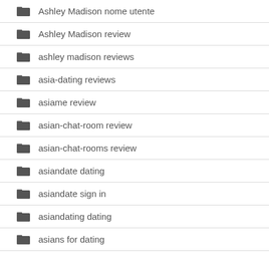Ashley Madison nome utente
Ashley Madison review
ashley madison reviews
asia-dating reviews
asiame review
asian-chat-room review
asian-chat-rooms review
asiandate dating
asiandate sign in
asiandating dating
asians for dating